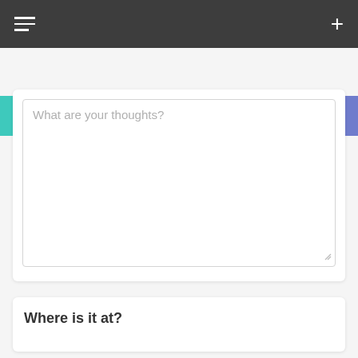Navigation bar with hamburger menu and plus button
Manage Attraction | Suggest an Edit
What are your thoughts?
Where is it at?